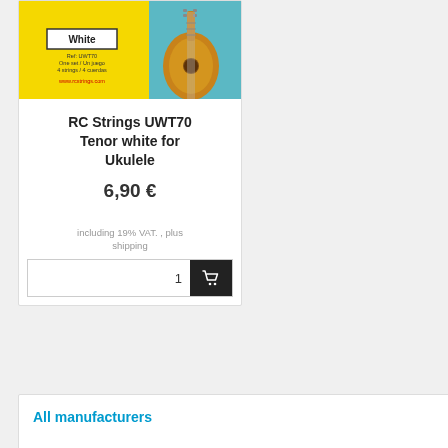[Figure (photo): Product image showing RC Strings UWT70 ukulele string packaging with 'White' label, yellow and blue design, ukulele graphic, ref number, and www.rcstrings.com]
RC Strings UWT70 Tenor white for Ukulele
6,90 €
including 19% VAT. , plus shipping
All manufacturers